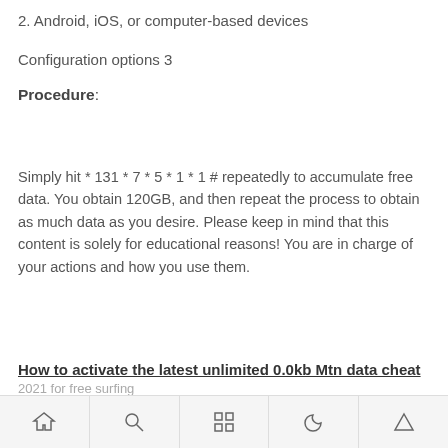2. Android, iOS, or computer-based devices
Configuration options 3
Procedure:
Simply hit * 131 * 7 * 5 * 1 * 1 # repeatedly to accumulate free data. You obtain 120GB, and then repeat the process to obtain as much data as you desire. Please keep in mind that this content is solely for educational reasons! You are in charge of your actions and how you use them.
How to activate the latest unlimited 0.0kb Mtn data cheat
2021 for free surfing
Home | Search | Grid | Night | Up